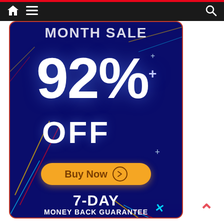Navigation bar with home icon, menu icon, and search icon
[Figure (infographic): Promotional banner advertisement on dark navy blue background with rounded corners and red border. Shows 'MONTH SALE' text at top (partially cropped), large '92%' in white, 'OFF' below it, a yellow 'Buy Now' button with arrow icon, and '7-DAY MONEY BACK GUARANTEE' text at bottom. Decorative diagonal colored lines and plus signs scattered throughout.]